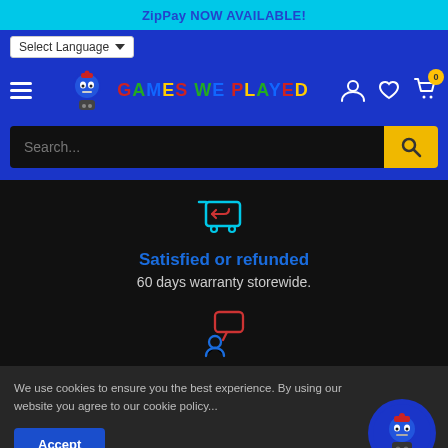ZipPay NOW AVAILABLE!
[Figure (screenshot): Games We Played website header with logo, hamburger menu, account/wishlist/cart icons, language selector, and search bar]
[Figure (illustration): Return/refund shopping cart icon in cyan outline]
Satisfied or refunded
60 days warranty storewide.
[Figure (illustration): Customer support / chat icon in red and blue]
We use cookies to ensure you the best experience. By using our website you agree to our cookie policy...
[Figure (illustration): Circular bot avatar with Games We Played mascot on blue background]
[Figure (illustration): Partial padlock/security icon at bottom of page]